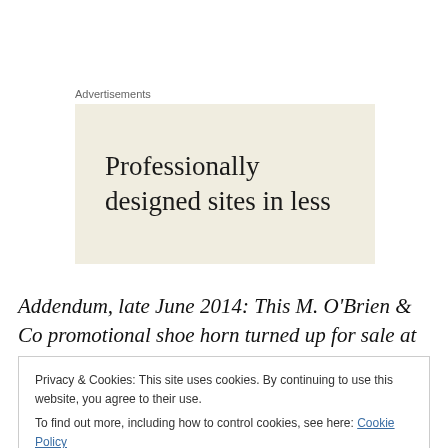Advertisements
[Figure (illustration): Advertisement banner with beige/cream background showing text: 'Professionally designed sites in less']
Addendum, late June 2014: This M. O'Brien & Co promotional shoe horn turned up for sale at auction
Privacy & Cookies: This site uses cookies. By continuing to use this website, you agree to their use.
To find out more, including how to control cookies, see here: Cookie Policy
Close and accept